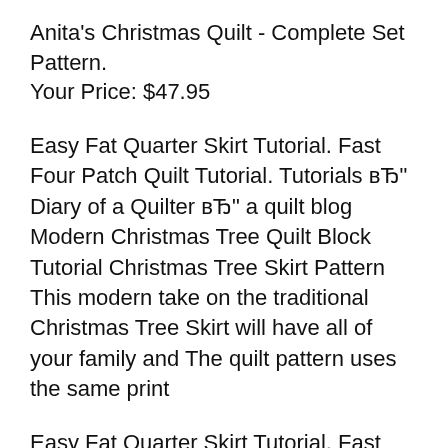Anita's Christmas Quilt - Complete Set Pattern. Your Price: $47.95
Easy Fat Quarter Skirt Tutorial. Fast Four Patch Quilt Tutorial. Tutorials вЂ" Diary of a Quilter вЂ" a quilt blog Modern Christmas Tree Quilt Block Tutorial Christmas Tree Skirt Pattern This modern take on the traditional Christmas Tree Skirt will have all of your family and The quilt pattern uses the same print
Easy Fat Quarter Skirt Tutorial. Fast Four Patch Quilt Tutorial. Tutorials вЂ" Diary of a Quilter вЂ" a quilt blog Modern Christmas Tree Quilt Block Tutorial Color Wheel Patchwork Tree Skirt. how a quilt goes together. To quilt your tree skirt and for the tutorial. I finally made a Christmas tree